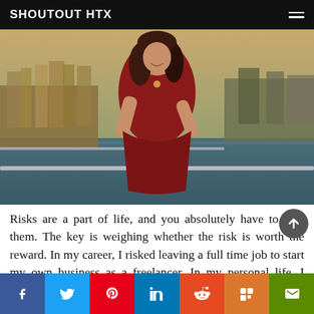SHOUTOUT HTX
[Figure (photo): Woman with dark curly hair wearing a red dress, smiling and posing by a railing near a lake or bayou with golden grasses and trees in the background. Outdoor lifestyle portrait.]
Risks are a part of life, and you absolutely have to take them. The key is weighing whether the risk is worth the reward. In my career, I risked leaving a full time job to start my own business as a freelancer. In my personal life, I risked